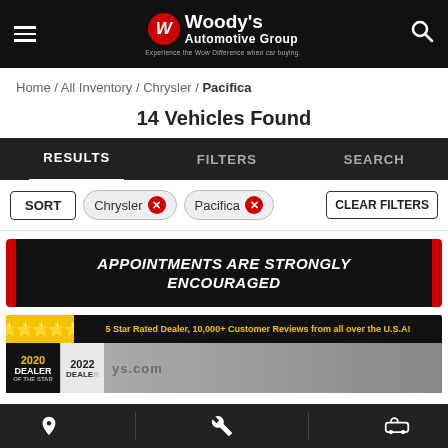Woody's Automotive Group — Experience the Wow Difference when car buying.
Home / All Inventory / Chrysler / Pacifica
14 Vehicles Found
RESULTS   FILTERS   SEARCH
SORT   Chrysler ×   Pacifica ×   CLEAR FILTERS
APPOINTMENTS ARE STRONGLY ENCOURAGED
5 Star Rated Dealer, 10,000+ Customer Reviews from all over the U.S.A!
[Figure (screenshot): Woody's Automotive Group dealer badge showing 2020 Dealer and 2022 Dealer awards with car image]
Location | Service | Inventory